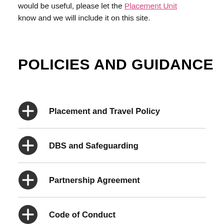would be useful, please let the Placement Unit know and we will include it on this site.
POLICIES AND GUIDANCE
Placement and Travel Policy
DBS and Safeguarding
Partnership Agreement
Code of Conduct